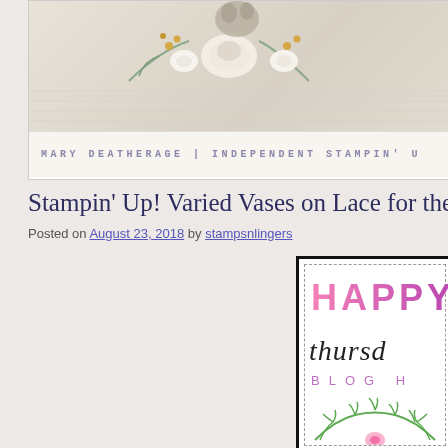[Figure (illustration): Blog header banner with floral watercolor decoration and text 'MARY DEATHERAGE | INDEPENDENT STAMPIN' U']
Stampin' Up! Varied Vases on Lace for the Happ
Posted on August 23, 2018 by stampsnlingers
[Figure (illustration): Card image showing 'HAPPY IN' in pink-to-purple gradient, 'thursd' in italic script, 'BLOG H' in purple spaced letters, and green botanical decoration at bottom]